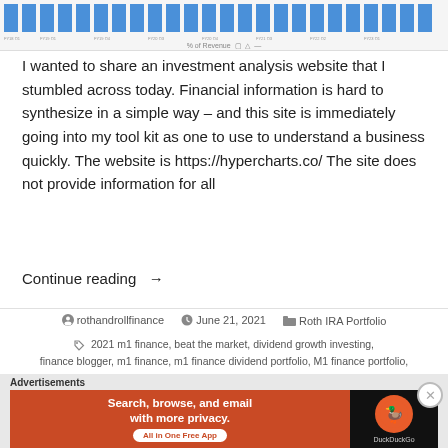[Figure (bar-chart): Partial bar chart showing revenue data across multiple quarters (FY18-FY23), cropped at top. Blue bars visible with x-axis quarter labels.]
I wanted to share an investment analysis website that I stumbled across today. Financial information is hard to synthesize in a simple way – and this site is immediately going into my tool kit as one to use to understand a business quickly. The website is https://hypercharts.co/ The site does not provide information for all
Continue reading →
rothandrollfinance   June 21, 2021   Roth IRA Portfolio
2021 m1 finance, beat the market, dividend growth investing, finance blogger, m1 finance, m1 finance dividend portfolio, M1 finance portfolio, m1 finance weighted return, revenue growth, weighted return
[Figure (screenshot): DuckDuckGo advertisement banner: 'Search, browse, and email with more privacy. All in One Free App' with DuckDuckGo logo on dark background.]